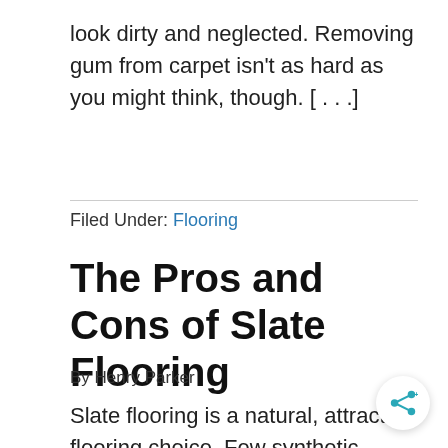look dirty and neglected. Removing gum from carpet isn't as hard as you might think, though. [...]
Filed Under: Flooring
The Pros and Cons of Slate Flooring
By Henry Parker
Slate flooring is a natural, attractive flooring choice. Few synthetic options can approach slate's classic aesthetic appeal and superior durability as a flooring material. It's a metamorphic rock, uniqu composed to be cut into flat shapes and sizes